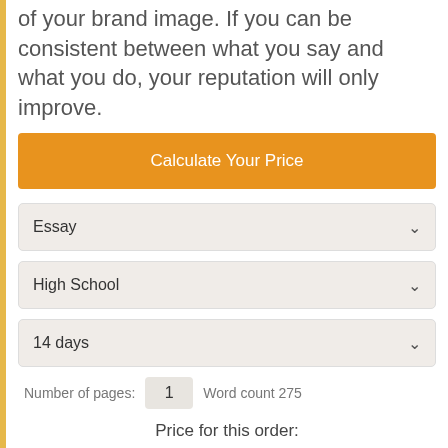of your brand image. If you can be consistent between what you say and what you do, your reputation will only improve.
[Figure (screenshot): Orange 'Calculate Your Price' button]
[Figure (screenshot): Dropdown selector showing 'Essay']
[Figure (screenshot): Dropdown selector showing 'High School']
[Figure (screenshot): Dropdown selector showing '14 days']
Number of pages: 1   Word count 275
Price for this order:
$12